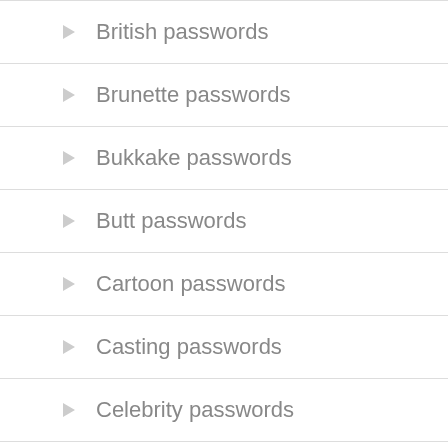British passwords
Brunette passwords
Bukkake passwords
Butt passwords
Cartoon passwords
Casting passwords
Celebrity passwords
Cfnms passwords
coeds passwords
College passwords
mopozh52:A World of asia accounts. G content usin use member and get...
[Figure (screenshot): Screenshot of an Asian mature website with red header, bold text BEAUTIFUL ASIAN MATURES IS HERE and JOIN NOW button]
BABE PASSWO INTERRACIAL JAPANESE PA MATURE PASS AUGUST 15, 2